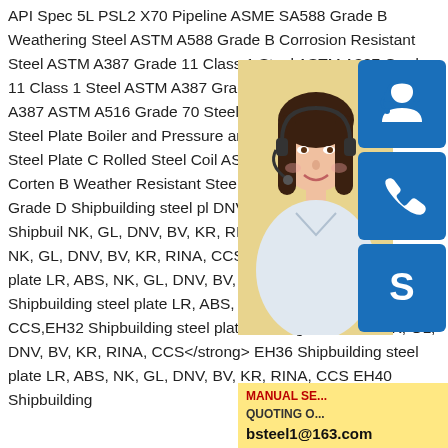API Spec 5L PSL2 X70 Pipeline ASME SA588 Grade B Weathering Steel ASTM A588 Grade B Corrosion Resistant Steel ASTM A387 Grade 11 Class 1 Steel ASTM A387 Grade 11 Class 1 Steel ASTM A387 Grade 11 Class 1 Steel ASTM A387 ASTM A516 Grade 70 Steel Plate Alloy Structure Steel Plate Boiler and Pressure and Low alloy High strength Steel Plate Rolled Steel Coil ASTM Corten A Weather Corten B Weather Resistant Steel LR, ABS, RINA, CCS, Grade D Shipbuilding steel pl DNV, BV, KR, RINA, CCS, DH32 Shipbuilding NK, GL, DNV, BV, KR, RINA, CCS,DH36 LR, ABS, NK, GL, DNV, BV, KR, RINA, CCS DH40 Shipbuilding steel plate LR, ABS, NK, GL, DNV, BV, KR, RINA, CCS, Grade E Shipbuilding steel plate LR, ABS, NK, GL, DNV, BV, KR, RINA, CCS,EH32 Shipbuilding steel plate <strong>LR, ABS, NK, GL, DNV, BV, KR, RINA, CCS</strong> EH36 Shipbuilding steel plate LR, ABS, NK, GL, DNV, BV, KR, RINA, CCS EH40 Shipbuilding
[Figure (photo): Customer service representative woman with headset, yellow background, with blue icon panels showing headset, phone, and Skype icons, and a contact banner with MANUAL SE, QUOTING O, and bsteel1@163.com]